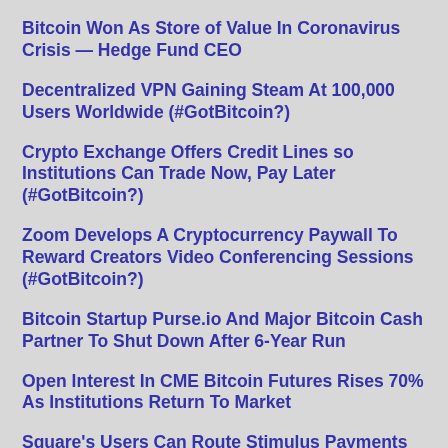Bitcoin Won As Store of Value In Coronavirus Crisis — Hedge Fund CEO
Decentralized VPN Gaining Steam At 100,000 Users Worldwide (#GotBitcoin?)
Crypto Exchange Offers Credit Lines so Institutions Can Trade Now, Pay Later (#GotBitcoin?)
Zoom Develops A Cryptocurrency Paywall To Reward Creators Video Conferencing Sessions (#GotBitcoin?)
Bitcoin Startup Purse.io And Major Bitcoin Cash Partner To Shut Down After 6-Year Run
Open Interest In CME Bitcoin Futures Rises 70% As Institutions Return To Market
Square's Users Can Route Stimulus Payments To BTC-